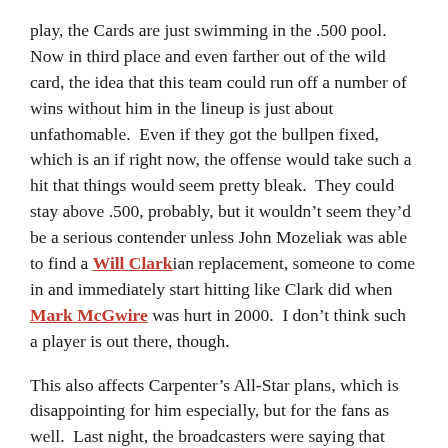play, the Cards are just swimming in the .500 pool.  Now in third place and even farther out of the wild card, the idea that this team could run off a number of wins without him in the lineup is just about unfathomable.  Even if they got the bullpen fixed, which is an if right now, the offense would take such a hit that things would seem pretty bleak.  They could stay above .500, probably, but it wouldn't seem they'd be a serious contender unless John Mozeliak was able to find a Will Clarkian replacement, someone to come in and immediately start hitting like Clark did when Mark McGwire was hurt in 2000.  I don't think such a player is out there, though.
This also affects Carpenter's All-Star plans, which is disappointing for him especially, but for the fans as well.  Last night, the broadcasters were saying that each team has to have a representative and that's true, but that representative doesn't have to be on the active roster.  In 2002, Matt Morris...